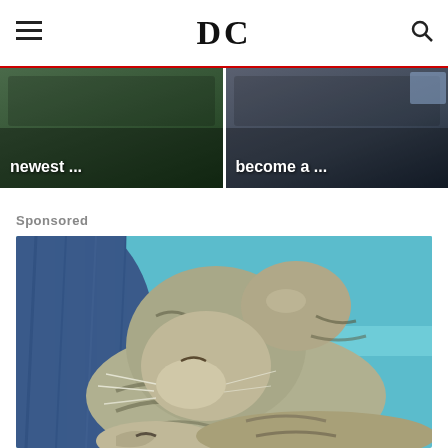DC
[Figure (screenshot): Two carousel cards with dark background images. Left card shows truncated text 'newest ...' in white bold on dark green background. Right card shows truncated text 'become a ...' in white bold on dark blue-gray background.]
Sponsored
[Figure (photo): Close-up photo of a gray tabby kitten sleeping/resting with its head tucked down. The kitten has striped markings, visible whiskers, and a pink ear. It rests on a blue surface (possibly a chair) near dark blue denim fabric.]